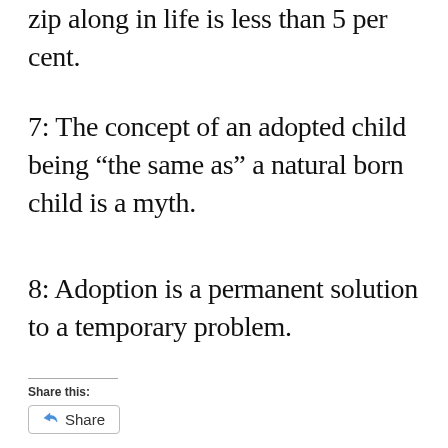zip along in life is less than 5 per cent.
7: The concept of an adopted child being “the same as” a natural born child is a myth.
8: Adoption is a permanent solution to a temporary problem.
Share this:
Share